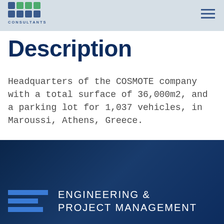[Figure (logo): Grid of colored dots logo with CONSULTANTS text below]
Description
Headquarters of the COSMOTE company with a total surface of 36,000m2, and a parking lot for 1,037 vehicles, in Maroussi, Athens, Greece.
ENGINEERING & PROJECT MANAGEMENT